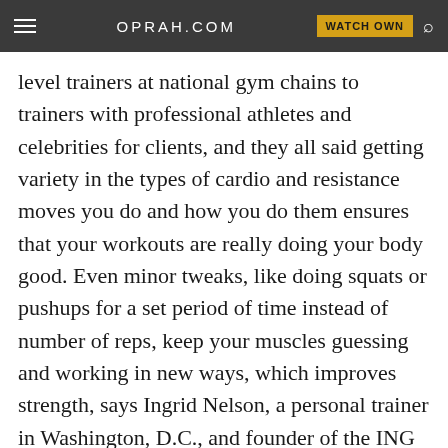OPRAH.COM | WATCH OWN
level trainers at national gym chains to trainers with professional athletes and celebrities for clients, and they all said getting variety in the types of cardio and resistance moves you do and how you do them ensures that your workouts are really doing your body good. Even minor tweaks, like doing squats or pushups for a set period of time instead of number of reps, keep your muscles guessing and working in new ways, which improves strength, says Ingrid Nelson, a personal trainer in Washington, D.C., and founder of the ING Group personal training. Variety could also help you do up to 44 percent more reps. Here's why that is, plus 4 more reasons to get creative with your workouts.